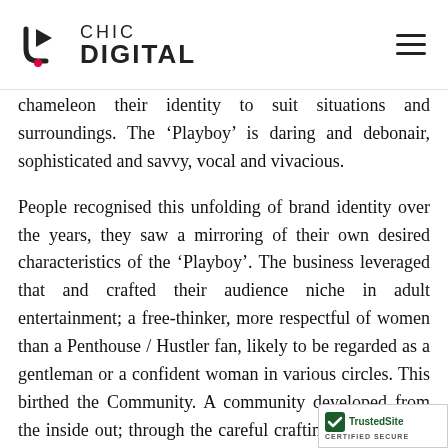CHIC DIGITAL
chameleon their identity to suit situations and surroundings. The ‘Playboy’ is daring and debonair, sophisticated and savvy, vocal and vivacious.
People recognised this unfolding of brand identity over the years, they saw a mirroring of their own desired characteristics of the ‘Playboy’. The business leveraged that and crafted their audience niche in adult entertainment; a free-thinker, more respectful of women than a Penthouse / Hustler fan, likely to be regarded as a gentleman or a confident woman in various circles. This birthed the Community. A community developed from the inside out; through the careful crafting of the brand, establishing a tone of voice (outside of Hef